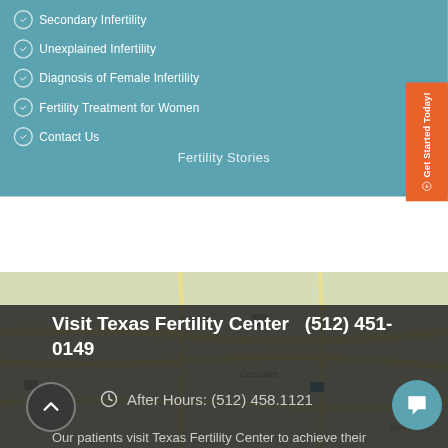Secondary Infertility
Unexplained Infertility
Diagnosis of Female Infertility
Fertility Treatment for Women
Contact Us
Fertility Stories
Get Started Today!
Visit Texas Fertility Center   (512) 451-0149
After Hours: (512) 458.1121
Our patients visit Texas Fertility Center to achieve their